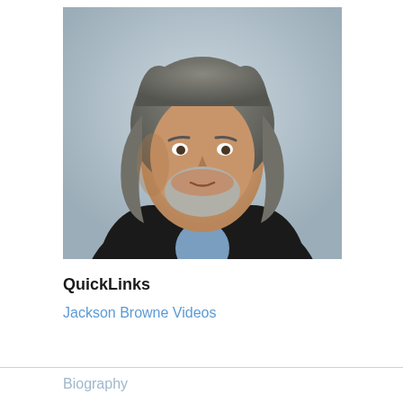[Figure (photo): Portrait photo of an older man with long grey hair and a grey beard, wearing a black leather jacket over a floral shirt, against a light grey background.]
QuickLinks
Jackson Browne Videos
Biography